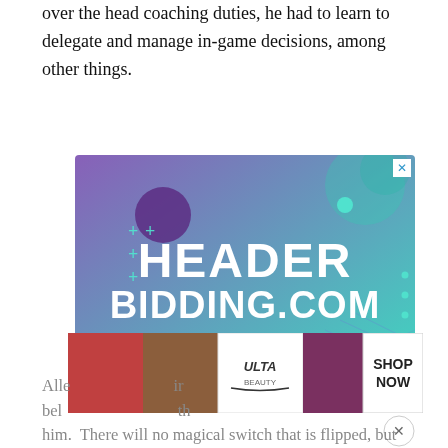over the head coaching duties, he had to learn to delegate and manage in-game decisions, among other things.
[Figure (infographic): Advertisement banner for HeaderBidding.com with purple-to-teal gradient background, decorative plus signs, circles, and grid pattern. Text reads: HEADER BIDDING.COM — Your source for all things programmatic advertising. Has an X close button in top right corner.]
[Figure (infographic): Ulta Beauty advertisement strip showing close-up makeup photos and SHOP NOW button.]
Alle... ...ir bel... ...th him. There will no magical switch that is flipped, but